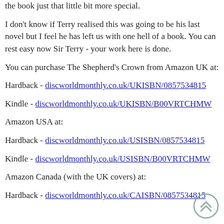the book just that little bit more special.
I don't know if Terry realised this was going to be his last novel but I feel he has left us with one hell of a book. You can rest easy now Sir Terry - your work here is done.
You can purchase The Shepherd's Crown from Amazon UK at:
Hardback - discworldmonthly.co.uk/UKISBN/0857534815
Kindle - discworldmonthly.co.uk/UKISBN/B00VRTCHMW
Amazon USA at:
Hardback - discworldmonthly.co.uk/USISBN/0857534815
Kindle - discworldmonthly.co.uk/USISBN/B00VRTCHMW
Amazon Canada (with the UK covers) at:
Hardback - discworldmonthly.co.uk/CAISBN/0857534815